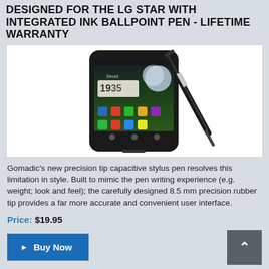DESIGNED FOR THE LG STAR WITH INTEGRATED INK BALLPOINT PEN - LIFETIME WARRANTY
[Figure (photo): Product photo showing an LG Star smartphone with a black stylus pen leaning against it. The phone displays a home screen with clock showing 19:35 and a moon/city wallpaper.]
Gomadic's new precision tip capacitive stylus pen resolves this limitation in style. Built to mimic the pen writing experience (e.g. weight; look and feel); the carefully designed 8.5 mm precision rubber tip provides a far more accurate and convenient user interface.
Price: $19.95
▶ Buy Now